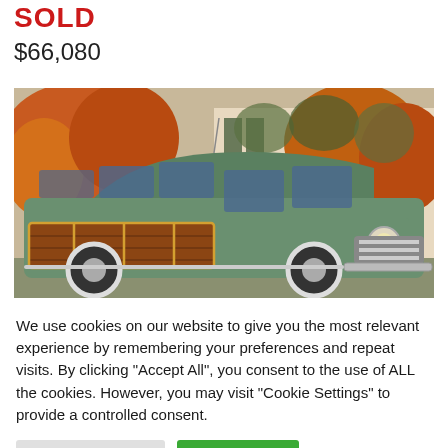SOLD
$66,080
[Figure (photo): A vintage green woody station wagon (circa 1949-1950 Ford) with wood paneling on the sides, white-wall tires, photographed in front of a house with autumn foliage in the background.]
We use cookies on our website to give you the most relevant experience by remembering your preferences and repeat visits. By clicking "Accept All", you consent to the use of ALL the cookies. However, you may visit "Cookie Settings" to provide a controlled consent.
Cookie Settings
Accept All